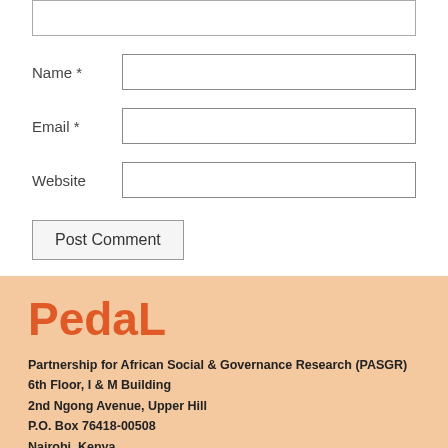Name *
Email *
Website
Post Comment
PedaL
Partnership for African Social & Governance Research (PASGR)
6th Floor, I & M Building
2nd Ngong Avenue, Upper Hill
P.O. Box 76418-00508
Nairobi, Kenya
Email: info@pasgr.org